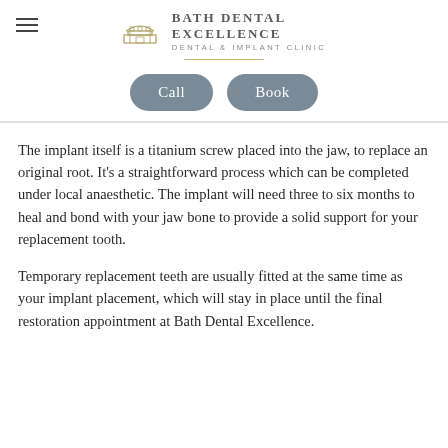Bath Dental Excellence — Dental & Implant Clinic
[Figure (logo): Bath Dental Excellence logo with architectural icon and gold divider line]
[Figure (infographic): Two rounded pill-shaped buttons: 'Call' and 'Book' in grey]
The implant itself is a titanium screw placed into the jaw, to replace an original root. It's a straightforward process which can be completed under local anaesthetic. The implant will need three to six months to heal and bond with your jaw bone to provide a solid support for your replacement tooth.
Temporary replacement teeth are usually fitted at the same time as your implant placement, which will stay in place until the final restoration appointment at Bath Dental Excellence.